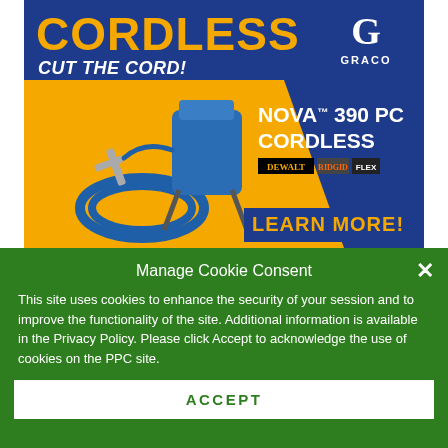[Figure (illustration): Graco advertisement banner for NOVA 390 PC Cordless paint sprayer. Blue and yellow background with text 'CORDLESS', 'CUT THE CORD!', Graco logo, product image with sprayer and hose, NOVA 390 PC CORDLESS product name, DeWalt/Ridgid battery logos, and LEARN MORE! call to action.]
Manage Cookie Consent
This site uses cookies to enhance the security of your session and to improve the functionality of the site. Additional information is available in the Privacy Policy. Please click Accept to acknowledge the use of cookies on the PPC site.
ACCEPT